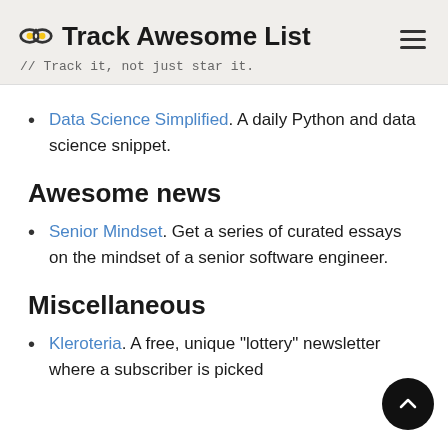Track Awesome List // Track it, not just star it.
Data Science Simplified. A daily Python and data science snippet.
Awesome news
Senior Mindset. Get a series of curated essays on the mindset of a senior software engineer.
Miscellaneous
Kleroteria. A free, unique "lottery" newsletter where a subscriber is picked